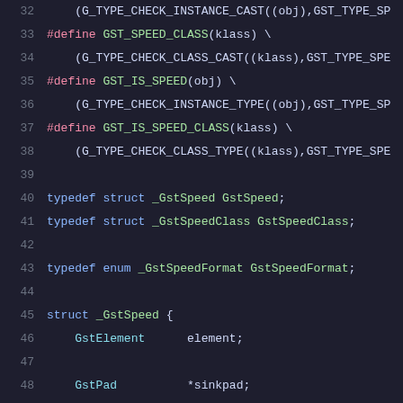[Figure (screenshot): Source code snippet showing C header file with GStreamer GstSpeed element definitions, lines 32-52]
Lines 32-52 of a C source file defining GstSpeed GStreamer element macros and structures